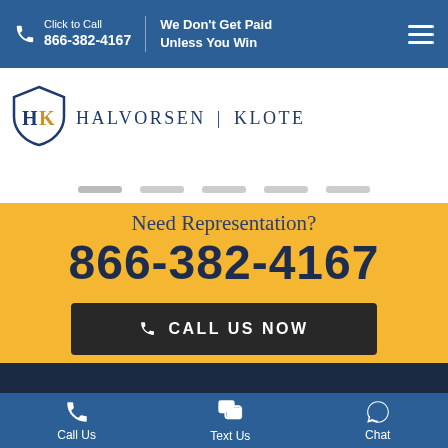Click to Call 866-382-4167 | We Don't Get Paid Unless You Win
[Figure (logo): Halvorsen Klote law firm shield logo with HK initials]
HALVORSEN | KLOTE
Need Representation?
866-382-4167
CALL US NOW
Call Us   Text Us   Chat